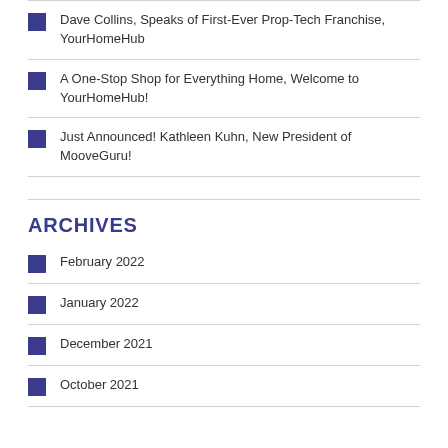Dave Collins, Speaks of First-Ever Prop-Tech Franchise, YourHomeHub
A One-Stop Shop for Everything Home, Welcome to YourHomeHub!
Just Announced! Kathleen Kuhn, New President of MooveGuru!
ARCHIVES
February 2022
January 2022
December 2021
October 2021